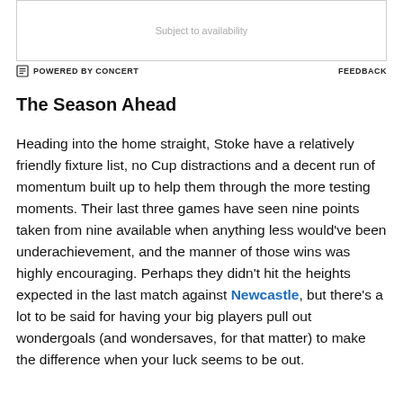[Figure (other): Advertisement box with 'Subject to availability' text]
POWERED BY CONCERT   FEEDBACK
The Season Ahead
Heading into the home straight, Stoke have a relatively friendly fixture list, no Cup distractions and a decent run of momentum built up to help them through the more testing moments. Their last three games have seen nine points taken from nine available when anything less would've been underachievement, and the manner of those wins was highly encouraging. Perhaps they didn't hit the heights expected in the last match against Newcastle, but there's a lot to be said for having your big players pull out wondergoals (and wondersaves, for that matter) to make the difference when your luck seems to be out.